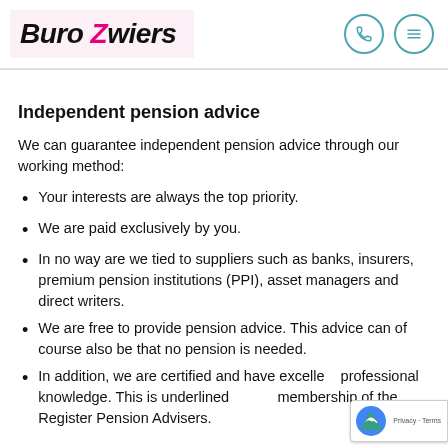Buro Zwiers
Independent pension advice
We can guarantee independent pension advice through our working method:
Your interests are always the top priority.
We are paid exclusively by you.
In no way are we tied to suppliers such as banks, insurers, premium pension institutions (PPI), asset managers and direct writers.
We are free to provide pension advice. This advice can of course also be that no pension is needed.
In addition, we are certified and have excellent professional knowledge. This is underlined by our membership of the Register Pension Advisers.